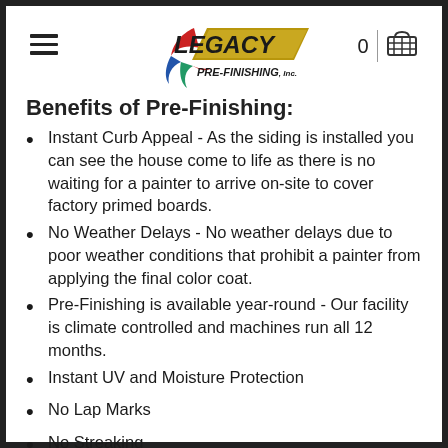Legacy Pre-Finishing, Inc. — navigation header with logo, hamburger menu, cart icon
Benefits of Pre-Finishing:
Instant Curb Appeal - As the siding is installed you can see the house come to life as there is no waiting for a painter to arrive on-site to cover factory primed boards.
No Weather Delays - No weather delays due to poor weather conditions that prohibit a painter from applying the final color coat.
Pre-Finishing is available year-round - Our facility is climate controlled and machines run all 12 months.
Instant UV and Moisture Protection
No Lap Marks
No Streaking